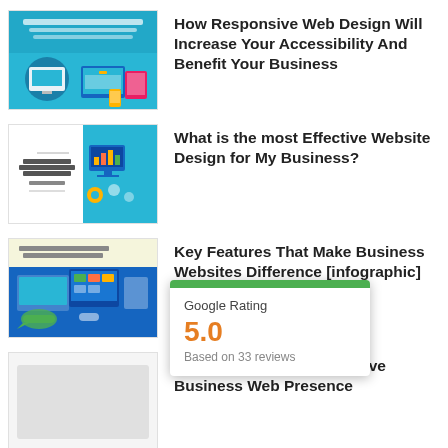How Responsive Web Design Will Increase Your Accessibility And Benefit Your Business
What is the most Effective Website Design for My Business?
Key Features That Make Business Websites Difference [infographic]
[Figure (infographic): Google Rating popup showing 5.0 rating based on 33 reviews with green bar]
Key Elements of an Effective Business Web Presence
Five Ways That A Customized